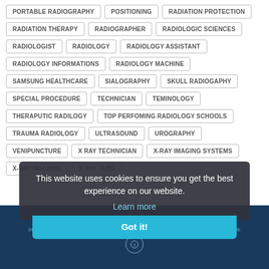PORTABLE RADIOGRAPHY
POSITIONING
RADIATION PROTECTION
RADIATION THERAPY
RADIOGRAPHER
RADIOLOGIC SCIENCES
RADIOLOGIST
RADIOLOGY
RADIOLOGY ASSISTANT
RADIOLOGY INFORMATIONS
RADIOLOGY MACHINE
SAMSUNG HEALTHCARE
SIALOGRAPHY
SKULL RADIOGAPHY
SPECIAL PROCEDURE
TECHNICIAN
TEMINOLOGY
THERAPUTIC RADILOGY
TOP PERFOMING RADIOLOGY SCHOOLS
TRAUMA RADIOLOGY
ULTRASOUND
UROGRAPHY
VENIPUNCTURE
X RAY TECHNICIAN
X-RAY IMAGING SYSTEMS
X-RAY MACHINE
X RAY TUBE
This website uses cookies to ensure you get the best experience on our website.
Learn more
Got it!
COPYRIGHT © 2017 HALAL HONDUIT
DESIGNED BY HERDINALYAH RAMDAH. PUBLISHED BY THEMCO PRESSERICATED D BLUE THEME